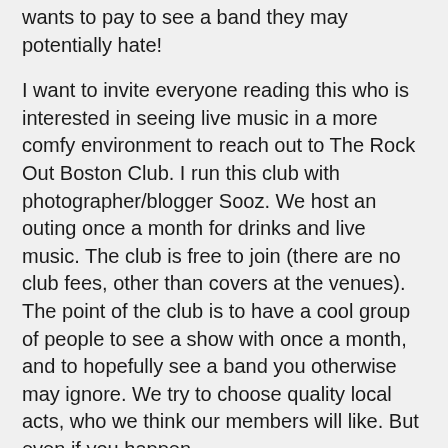wants to pay to see a band they may potentially hate!
I want to invite everyone reading this who is interested in seeing live music in a more comfy environment to reach out to The Rock Out Boston Club. I run this club with photographer/blogger Sooz. We host an outing once a month for drinks and live music. The club is free to join (there are no club fees, other than covers at the venues). The point of the club is to have a cool group of people to see a show with once a month, and to hopefully see a band you otherwise may ignore. We try to choose quality local acts, who we think our members will like. But even if you happen